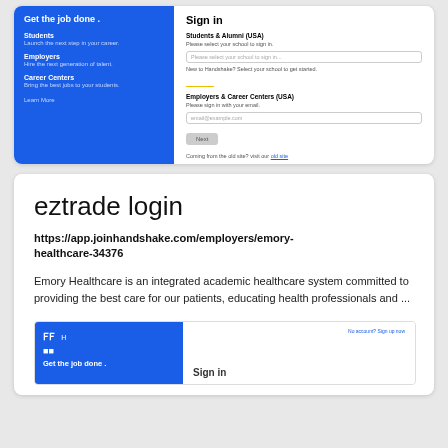[Figure (screenshot): Screenshot of Handshake platform login page showing blue left panel with 'Get the job done' tagline and menu items (Students, Employers, Career Centers), and right panel with Sign in form for Students & Alumni and Employers & Career Centers]
eztrade login
https://app.joinhandshake.com/employers/emory-healthcare-34376
Emory Healthcare is an integrated academic healthcare system committed to providing the best care for our patients, educating health professionals and ...
[Figure (screenshot): Partial screenshot of Handshake platform login page (bottom, cut off) showing blue left panel with Handshake logo and 'Get the job done' tagline, and right panel with Sign in heading]